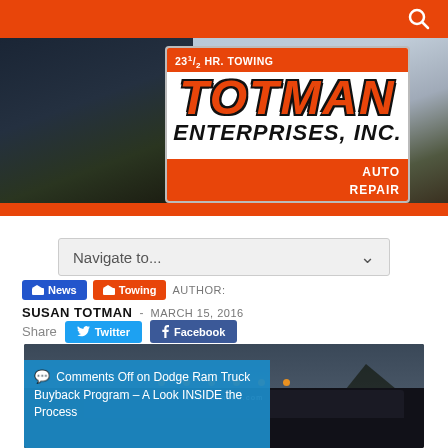Totman Enterprises, Inc. website header with search icon
[Figure (logo): Totman Enterprises, Inc. logo with '23½ HR. TOWING' text and 'AUTO REPAIR' on orange background with photo collage of tow trucks and road scenes]
Navigate to...
News  Towing  AUTHOR: SUSAN TOTMAN - MARCH 15, 2016
Share  Twitter  Facebook
[Figure (photo): Totman tow truck with www.totmans.com windshield text, with blue overlay caption: Comments Off on Dodge Ram Truck Buyback Program – A Look INSIDE the Process]